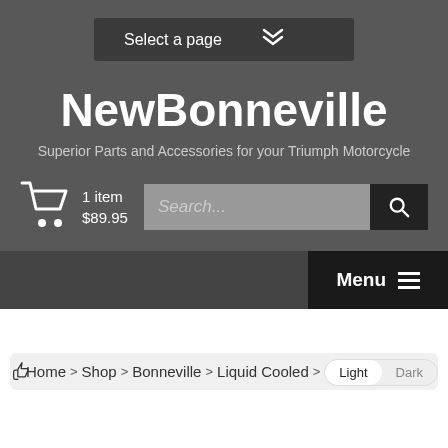Select a page
NewBonneville
Superior Parts and Accessories for your Triumph Motorcycle
1 item $89.95
Search...
Menu
Light Dark
Home > Shop > Bonneville > Liquid Cooled > Page 4